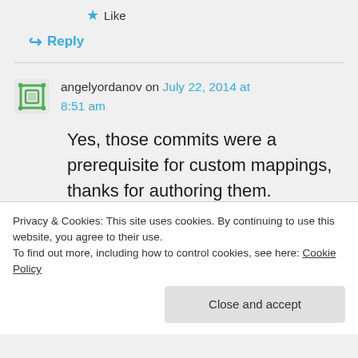★ Like
↪ Reply
angelyordanov on July 22, 2014 at 8:51 am
Yes, those commits were a prerequisite for custom mappings, thanks for authoring them.
The code missing is for
null.
Privacy & Cookies: This site uses cookies. By continuing to use this website, you agree to their use.
To find out more, including how to control cookies, see here: Cookie Policy
Close and accept